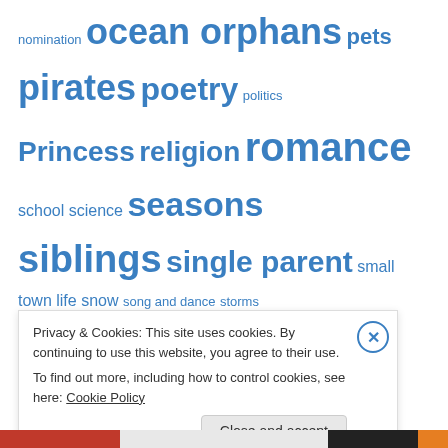nomination ocean orphans pets pirates poetry politics Princess religion romance school science seasons siblings single parent small town life snow song and dance storms strong girls theatre toys travel treasure violence war weather wilderness survival winter witches
Welcome!
This blog is intended to provide information for parents (especially parents of preschoolers) on media for children. Hopefully it will help you
Privacy & Cookies: This site uses cookies. By continuing to use this website, you agree to their use.
To find out more, including how to control cookies, see here: Cookie Policy
Close and accept